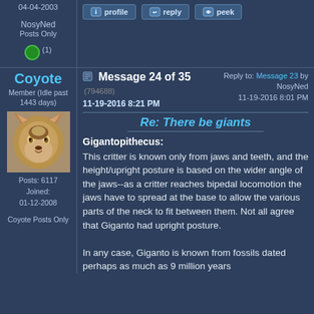04-04-2003
[Figure (other): Forum action buttons: profile, reply, peek]
NosyNed Posts Only
[Figure (other): Green circle reputation indicator (1)]
Coyote
Member (Idle past 1443 days)
[Figure (photo): Avatar photo of a coyote animal face, brown fur with pointed ears]
Posts: 6117
Joined: 01-12-2008
Coyote Posts Only
Message 24 of 35 (794688) 11-19-2016 8:21 PM
Reply to: Message 23 by NosyNed 11-19-2016 8:01 PM
Re: There be giants
Gigantopithecus:
This critter is known only from jaws and teeth, and the height/upright posture is based on the wider angle of the jaws--as a critter reaches bipedal locomotion the jaws have to spread at the base to allow the various parts of the neck to fit between them. Not all agree that Giganto had upright posture.
In any case, Giganto is known from fossils dated perhaps as much as 9 million years